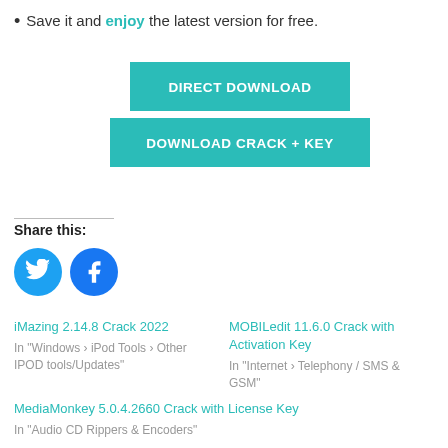Save it and enjoy the latest version for free.
[Figure (other): DIRECT DOWNLOAD button (teal/cyan background, white text)]
[Figure (other): DOWNLOAD CRACK + KEY button (teal/cyan background, white text)]
Share this:
[Figure (other): Twitter and Facebook social media icon circles]
iMazing 2.14.8 Crack 2022
In "Windows › iPod Tools › Other IPOD tools/Updates"
MOBILedit 11.6.0 Crack with Activation Key
In "Internet › Telephony / SMS & GSM"
MediaMonkey 5.0.4.2660 Crack with License Key
In "Audio CD Rippers & Encoders"